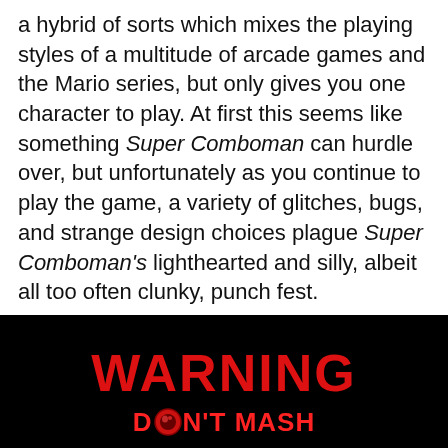a hybrid of sorts which mixes the playing styles of a multitude of arcade games and the Mario series, but only gives you one character to play. At first this seems like something Super Comboman can hurdle over, but unfortunately as you continue to play the game, a variety of glitches, bugs, and strange design choices plague Super Comboman's lighthearted and silly, albeit all too often clunky, punch fest.
[Figure (screenshot): A black background game warning screen showing 'WARNING' in large red bold text, below it 'DON'T MASH' in red with a stylized character icon replacing the 'O', and below that an arcade controller graphic with red and purple buttons. Small red fine-print text appears at the bottom.]